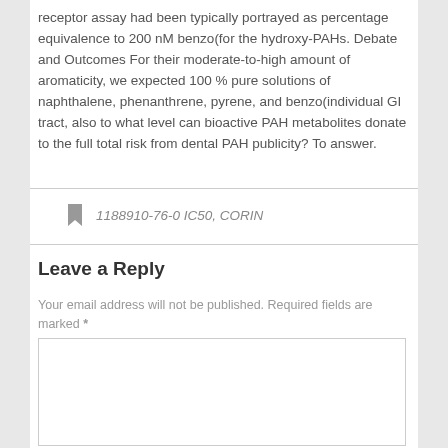receptor assay had been typically portrayed as percentage equivalence to 200 nM benzo(for the hydroxy-PAHs. Debate and Outcomes For their moderate-to-high amount of aromaticity, we expected 100 % pure solutions of naphthalene, phenanthrene, pyrene, and benzo(individual GI tract, also to what level can bioactive PAH metabolites donate to the full total risk from dental PAH publicity? To answer.
1188910-76-0 IC50, CORIN
Leave a Reply
Your email address will not be published. Required fields are marked *